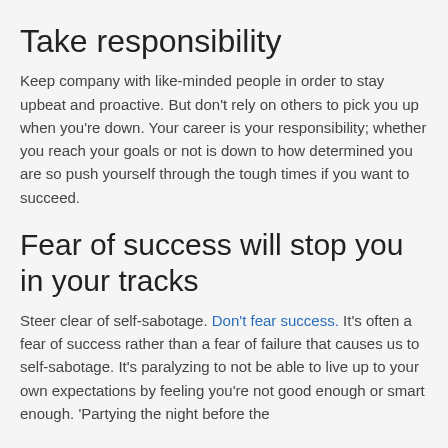certain failure.
Take responsibility
Keep company with like-minded people in order to stay upbeat and proactive. But don't rely on others to pick you up when you're down. Your career is your responsibility; whether you reach your goals or not is down to how determined you are so push yourself through the tough times if you want to succeed.
Fear of success will stop you in your tracks
Steer clear of self-sabotage. Don't fear success. It's often a fear of success rather than a fear of failure that causes us to self-sabotage. It's paralyzing to not be able to live up to your own expectations by feeling you're not good enough or smart enough. 'Partying the night before the